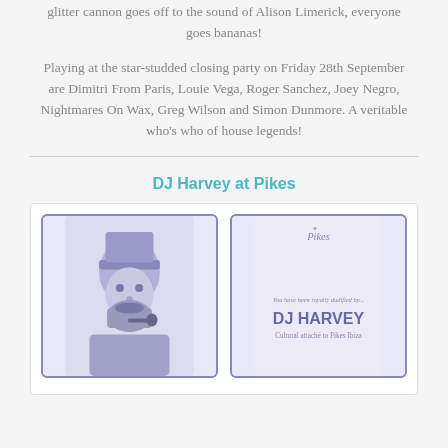glitter cannon goes off to the sound of Alison Limerick, everyone goes bananas!
Playing at the star-studded closing party on Friday 28th September are Dimitri From Paris, Louie Vega, Roger Sanchez, Joey Negro, Nightmares On Wax, Greg Wilson and Simon Dunmore. A veritable who's who of house legends!
DJ Harvey at Pikes
[Figure (photo): Two cassette tape cards side by side. Left card shows a blue-tinted portrait of a bearded man wearing a hat and smoking a pipe. Right card shows the Pikes logo at top and text reading 'You have been royally dudified by... DJ HARVEY Cultural attaché to Pikes Ibiza']